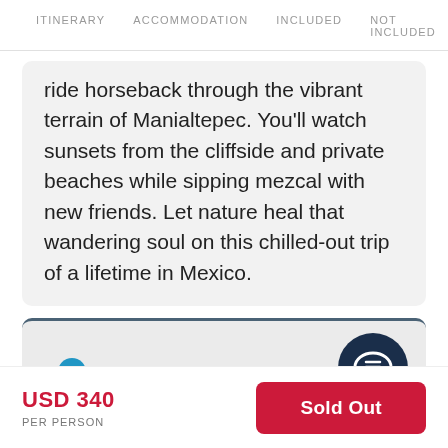ITINERARY   ACCOMMODATION   INCLUDED   NOT INCLUDED
ride horseback through the vibrant terrain of Manialtepec. You'll watch sunsets from the cliffside and private beaches while sipping mezcal with new friends. Let nature heal that wandering soul on this chilled-out trip of a lifetime in Mexico.
[Figure (screenshot): A light grey card section with a blue chat/support bubble icon on the right and a blue user/person icon on the lower left, partially visible at the bottom.]
USD 340
PER PERSON
Sold Out